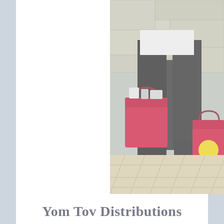[Figure (photo): A person standing outdoors on a tiled stone pavement holding red shopping bags. The lower half of the person is visible wearing dark trousers and black shoes. Two red bags are visible, one large one on the ground and a smaller one in hand. Stone wall visible in background.]
Yom Tov Distributions